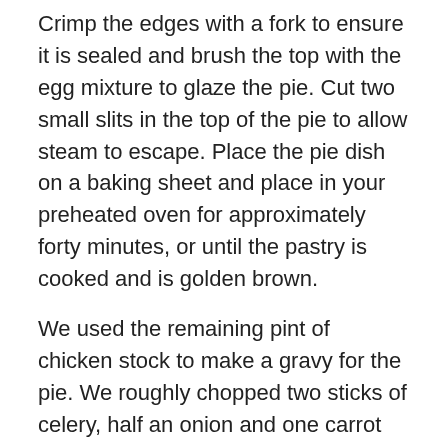Crimp the edges with a fork to ensure it is sealed and brush the top with the egg mixture to glaze the pie. Cut two small slits in the top of the pie to allow steam to escape. Place the pie dish on a baking sheet and place in your preheated oven for approximately forty minutes, or until the pastry is cooked and is golden brown.
We used the remaining pint of chicken stock to make a gravy for the pie. We roughly chopped two sticks of celery, half an onion and one carrot and placed these in the stock and brought it to boil. We then turned this down to a simmer and left it for twenty to thirty minutes. You made need to add another half to a pint of chicken stock to this, depending on how much gravy you like. After thirty minutes or so we removed the vegetables with a slotted spoon and discarded them. We then added a couple spoonfuls of chicken gravy granules to thicken the stock